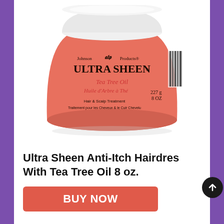[Figure (photo): A jar of Johnson Products Ultra Sheen Tea Tree Oil Hair & Scalp Treatment, 227g 8oz, with an orange/salmon colored jar and white lid. Label text includes 'Johnson Products', 'ULTRA SHEEN®', 'Tea Tree Oil', 'Huile d'Arbre à Thé', 'Hair & Scalp Treatment', 'Traitement pour les Cheveux & le Cuir Chevelu', '227g 8 OZ'. A barcode is visible on the right side.]
Ultra Sheen Anti-Itch Hairdres With Tea Tree Oil 8 oz.
BUY NOW